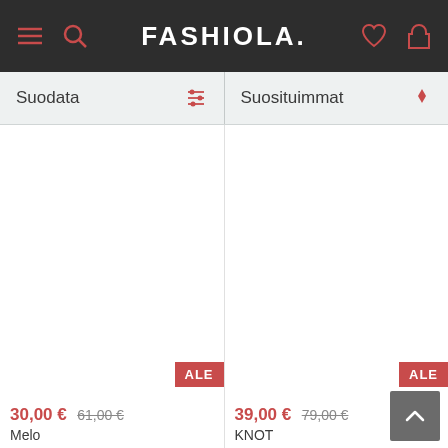FASHIOLA.
Suodata
Suosituimmat
ALE
ALE
30,00 € 61,00 €
Melo
39,00 € 79,00 €
KNOT